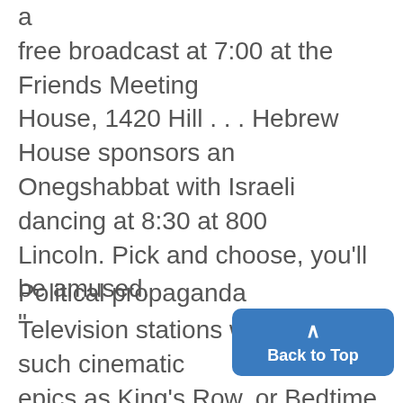a free broadcast at 7:00 at the Friends Meeting House, 1420 Hill . . . Hebrew House sponsors an Onegshabbat with Israeli dancing at 8:30 at 800 Lincoln. Pick and choose, you'll be amused. "
Political propaganda
Television stations which show such cinematic epics as King's Row, or Bedtime or